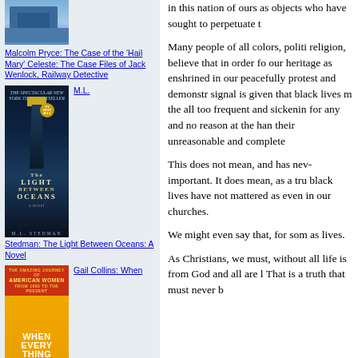[Figure (photo): Book cover image at top of left column, blue tones]
Malcolm Pryce: The Case of the 'Hail Mary' Celeste: The Case Files of Jack Wenlock, Railway Detective
[Figure (photo): Book cover of 'The Light Between Oceans' by M.L. Stedman, dark blue lighthouse image]
M.L.
Stedman: The Light Between Oceans: A Novel
[Figure (photo): Book cover of 'When Everything Changed' by Gail Collins, yellow/red cover]
Gail Collins: When
Everything Changed: The
in this nation of ours as objects who have sought to perpetuate t
Many people of all colors, politics, religion, believe that in order for our heritage as enshrined in our peacefully protest and demonstrate, signal is given that black lives m the all too frequent and sickenin for any and no reason at the han their unreasonable and complete
This does not mean, and has never important. It does mean, as a tru black lives have not mattered as even in our churches.
We might even say that, for some as lives.
As Christians, we must, without all life is from God and all are l That is a truth that must never b